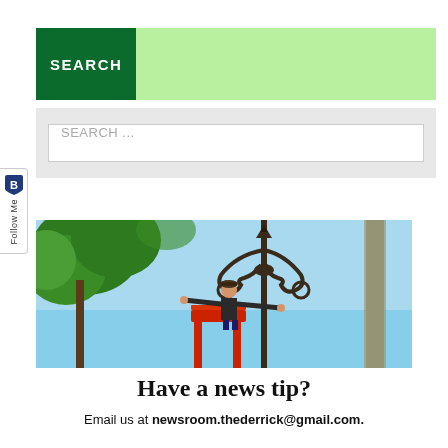SEARCH
SEARCH ...
[Figure (photo): Worker on a cherry picker lift reaching toward an ornate iron street lamp with decorative scrollwork, with green trees and blue sky in background]
Have a news tip?
Email us at newsroom.thederrick@gmail.com.